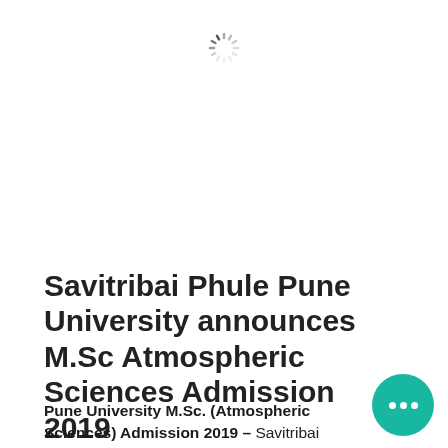[Figure (other): Loading spinner icon centered near top of page]
Savitribai Phule Pune University announces M.Sc Atmospheric Sciences Admission 2019
Pune University M.Sc. (Atmospheric Sciences) Admission 2019 – Savitribai Phule